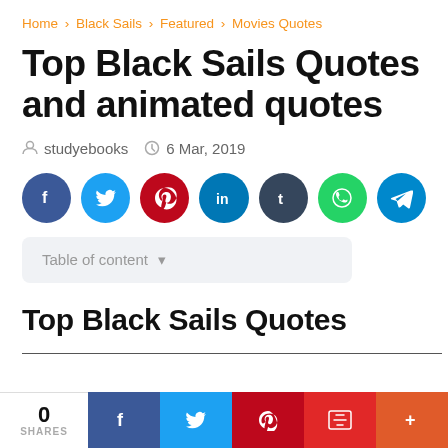Home > Black Sails > Featured > Movies Quotes
Top Black Sails Quotes and animated quotes
studyebooks   6 Mar, 2019
[Figure (infographic): Social sharing buttons: Facebook (blue), Twitter (light blue), Pinterest (red), LinkedIn (dark blue), Tumblr (dark navy), WhatsApp (green), Telegram (blue)]
Table of content ▾
Top  Black Sails Quotes
cut off text at bottom
0 SHARES  [Facebook] [Twitter] [Pinterest] [Flipboard] [+]